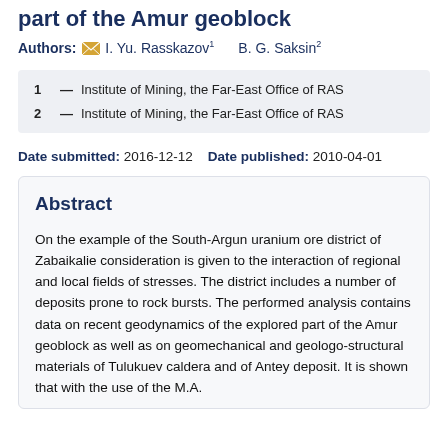part of the Amur geoblock
Authors: I. Yu. Rasskazov¹  B. G. Saksin²
1 — Institute of Mining, the Far-East Office of RAS
2 — Institute of Mining, the Far-East Office of RAS
Date submitted: 2016-12-12   Date published: 2010-04-01
Abstract
On the example of the South-Argun uranium ore district of Zabaikalie consideration is given to the interaction of regional and local fields of stresses. The district includes a number of deposits prone to rock bursts. The performed analysis contains data on recent geodynamics of the explored part of the Amur geoblock as well as on geomechanical and geologo-structural materials of Tulukuev caldera and of Antey deposit. It is shown that with the use of the M.A.